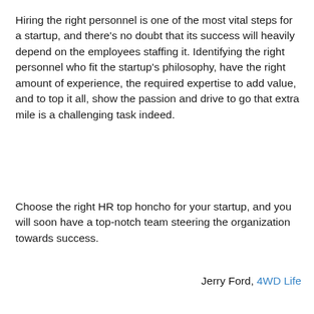Hiring the right personnel is one of the most vital steps for a startup, and there's no doubt that its success will heavily depend on the employees staffing it. Identifying the right personnel who fit the startup's philosophy, have the right amount of experience, the required expertise to add value, and to top it all, show the passion and drive to go that extra mile is a challenging task indeed.
Choose the right HR top honcho for your startup, and you will soon have a top-notch team steering the organization towards success.
Jerry Ford, 4WD Life